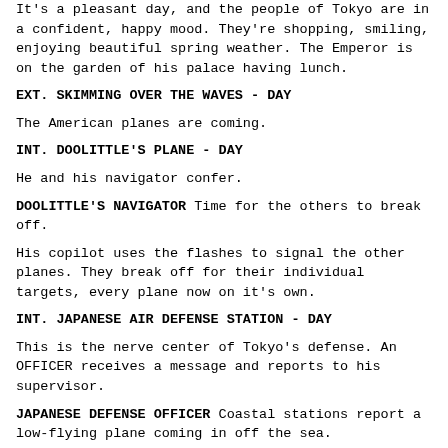It's a pleasant day, and the people of Tokyo are in a confident, happy mood. They're shopping, smiling, enjoying beautiful spring weather. The Emperor is on the garden of his palace having lunch.
EXT. SKIMMING OVER THE WAVES - DAY
The American planes are coming.
INT. DOOLITTLE'S PLANE - DAY
He and his navigator confer.
DOOLITTLE'S NAVIGATOR Time for the others to break off.
His copilot uses the flashes to signal the other planes. They break off for their individual targets, every plane now on it's own.
INT. JAPANESE AIR DEFENSE STATION - DAY
This is the nerve center of Tokyo's defense. An OFFICER receives a message and reports to his supervisor.
JAPANESE DEFENSE OFFICER Coastal stations report a low-flying plane coming in off the sea.